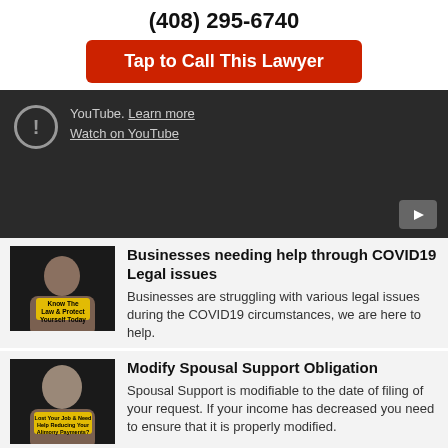(408) 295-6740
Tap to Call This Lawyer
[Figure (screenshot): Embedded YouTube video player showing a warning icon, 'Learn more' and 'Watch on YouTube' links on dark background with play button]
[Figure (photo): Thumbnail for COVID19 legal issues video showing a person with yellow label 'Know The Law & Protect Yourself Today']
Businesses needing help through COVID19 Legal issues
Businesses are struggling with various legal issues during the COVID19 circumstances, we are here to help.
[Figure (photo): Thumbnail for Spousal Support video showing a person with yellow label 'Lost Your Job & Need Help Reducing Your Alimony Payments?']
Modify Spousal Support Obligation
Spousal Support is modifiable to the date of filing of your request. If your income has decreased you need to ensure that it is properly modified.